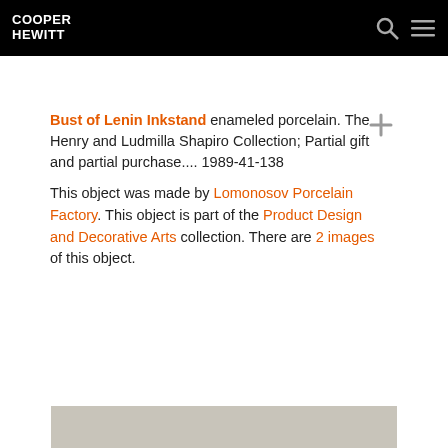COOPER HEWITT
Bust of Lenin Inkstand enameled porcelain. The Henry and Ludmilla Shapiro Collection; Partial gift and partial purchase.... 1989-41-138
This object was made by Lomonosov Porcelain Factory. This object is part of the Product Design and Decorative Arts collection. There are 2 images of this object.
[Figure (photo): Partial view of a gray/beige image strip at the bottom of the page]